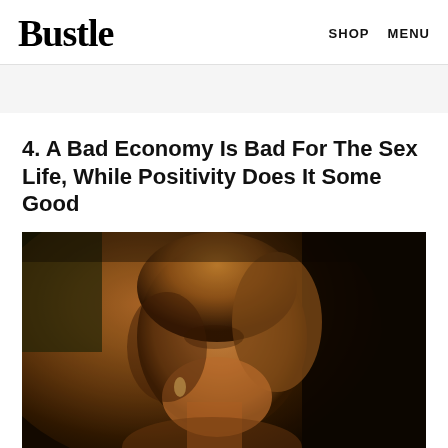Bustle   SHOP   MENU
4. A Bad Economy Is Bad For The Sex Life, While Positivity Does It Some Good
[Figure (photo): A woman with blonde hair pulled back, wearing earrings, photographed in profile from the side in low warm light against a dark background]